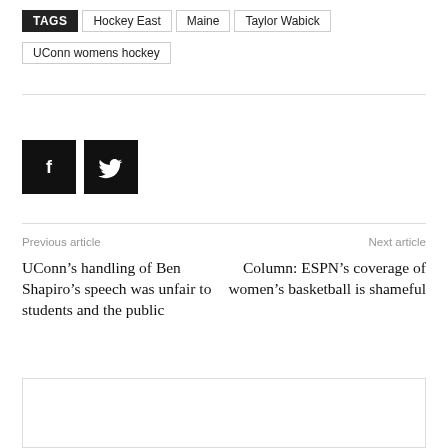TAGS  Hockey East  Maine  Taylor Wabick  UConn womens hockey
[Figure (other): Facebook and Twitter social sharing buttons (black square icons with f and bird logos)]
Previous article
Next article
UConn’s handling of Ben Shapiro’s speech was unfair to students and the public
Column: ESPN’s coverage of women’s basketball is shameful